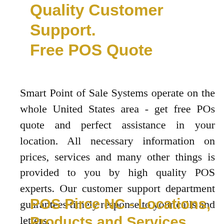Quality Customer Support. Free POS Quote
Smart Point of Sale Systems operate on the whole United States area - get free POs quote and perfect assistance in your location. All necessary information on prices, services and many other things is provided to you by high quality POS experts. Our customer support department guarantees timely response to your calls and letters.
POS Pirce NC - Locations, Products and Services